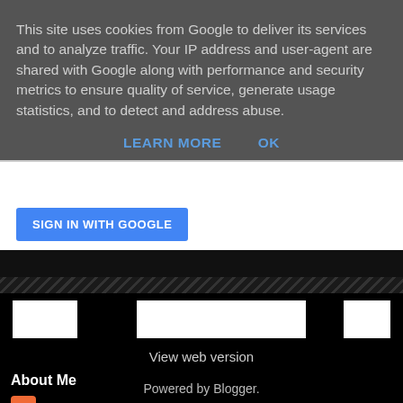This site uses cookies from Google to deliver its services and to analyze traffic. Your IP address and user-agent are shared with Google along with performance and security metrics to ensure quality of service, generate usage statistics, and to detect and address abuse.
LEARN MORE    OK
[Figure (screenshot): SIGN IN WITH GOOGLE button (blue) partially visible]
View web version
About Me
[Figure (logo): Blogger orange icon/logo]
View my complete profile
Powered by Blogger.